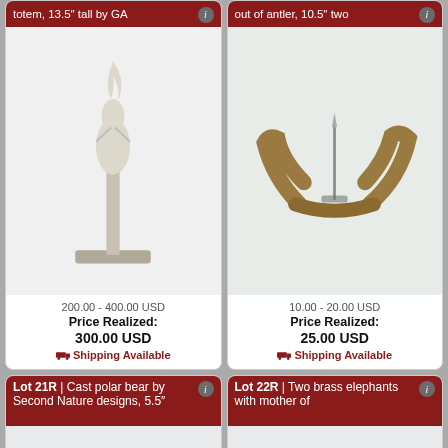totem, 13.5" tall by GA
[Figure (photo): White carved totem figure on a metallic base, approximately 13.5 inches tall]
200.00 - 400.00 USD
Price Realized: 300.00 USD
Shipping Available
out of antler, 10.5" two
[Figure (photo): Antler piece with a metal pin/pen holder on top, roughly 10.5 inches]
10.00 - 20.00 USD
Price Realized: 25.00 USD
Shipping Available
Lot 21R | Cast polar bear by Second Nature designs, 5.5"
[Figure (photo): Small cast polar bear figurine, white, by Second Nature designs, 5.5 inches]
Lot 22R | Two brass elephants with mother of
[Figure (photo): Two brass elephant figurines with mother of pearl inlay]